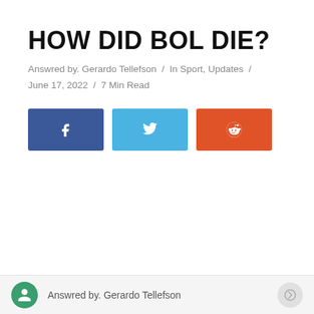HOW DID BOL DIE?
Answred by. Gerardo Tellefson / In Sport, Updates / June 17, 2022 / 7 Min Read
[Figure (other): Three social share buttons: Facebook (blue), Twitter (light blue), Reddit (orange-red)]
Answred by. Gerardo Tellefson